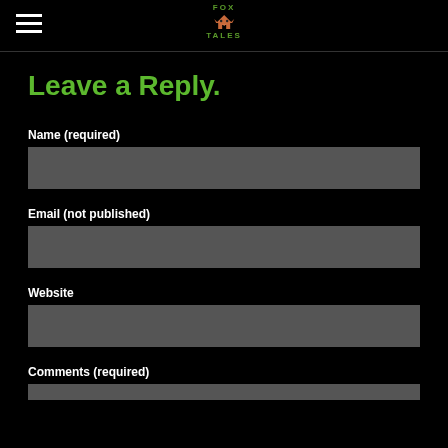Fox Tales
Leave a Reply.
Name (required)
Email (not published)
Website
Comments (required)